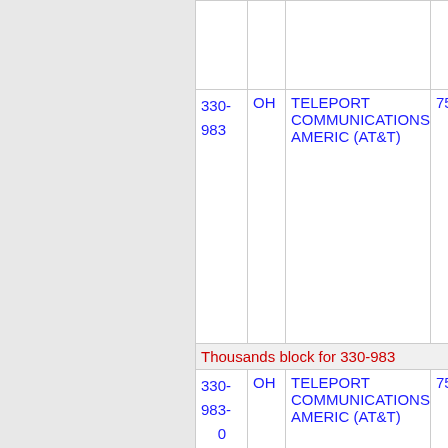| NPA-NXX | ST | Company | Num |
| --- | --- | --- | --- |
| 330-
983 | OH | TELEPORT COMMUNICATIONS AMERIC (AT&T) | 75 |
| Thousands block for 330-983 |  |  |  |
| 330-
983-
0 | OH | TELEPORT COMMUNICATIONS AMERIC (AT&T) | 75 |